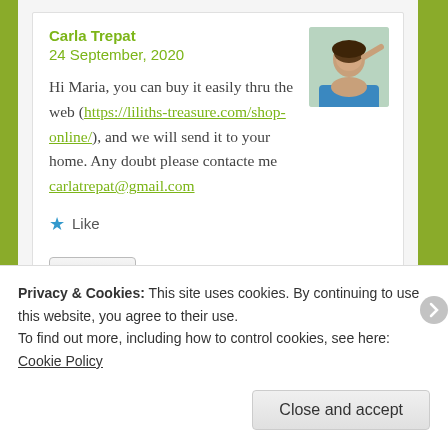Carla Trepat
24 September, 2020
[Figure (photo): Avatar photo of a person with dark hair against a light background]
Hi Maria, you can buy it easily thru the web (https://liliths-treasure.com/shop-online/), and we will send it to your home. Any doubt please contacte me carlatrepat@gmail.com
Like
Reply
Privacy & Cookies: This site uses cookies. By continuing to use this website, you agree to their use.
To find out more, including how to control cookies, see here: Cookie Policy
Close and accept